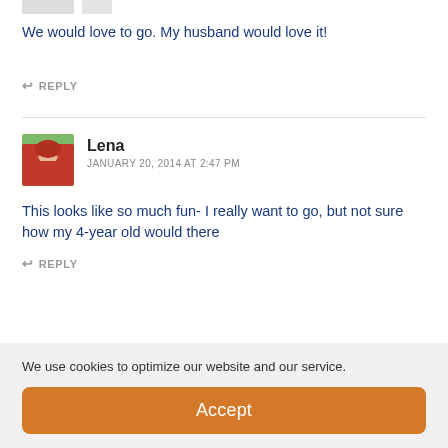We would love to go. My husband would love it!
↩ REPLY
[Figure (photo): Profile photo of Lena, a woman in a red hoodie outdoors]
Lena
JANUARY 20, 2014 AT 2:47 PM
This looks like so much fun- I really want to go, but not sure how my 4-year old would there
↩ REPLY
We use cookies to optimize our website and our service.
Accept